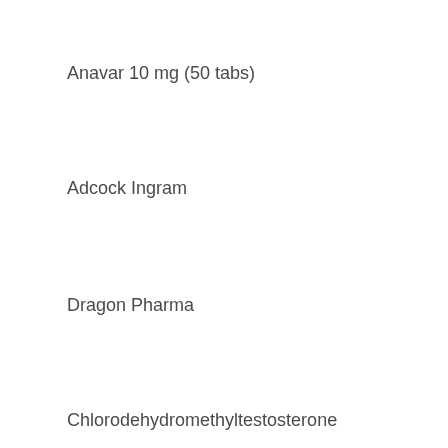Anavar 10 mg (50 tabs)
Adcock Ingram
Dragon Pharma
Chlorodehydromethyltestosterone